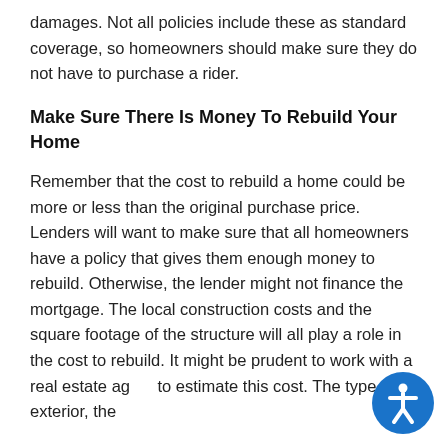damages. Not all policies include these as standard coverage, so homeowners should make sure they do not have to purchase a rider.
Make Sure There Is Money To Rebuild Your Home
Remember that the cost to rebuild a home could be more or less than the original purchase price. Lenders will want to make sure that all homeowners have a policy that gives them enough money to rebuild. Otherwise, the lender might not finance the mortgage. The local construction costs and the square footage of the structure will all play a role in the cost to rebuild. It might be prudent to work with a real estate ag... to estimate this cost. The type of exterior, the